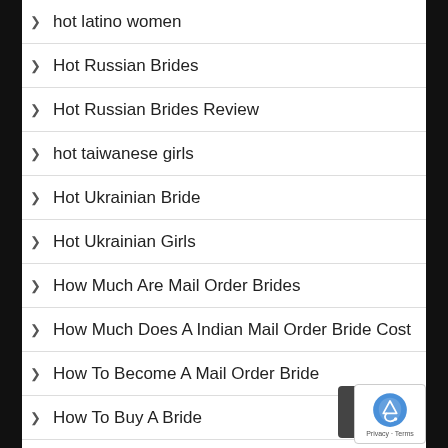hot latino women
Hot Russian Brides
Hot Russian Brides Review
hot taiwanese girls
Hot Ukrainian Bride
Hot Ukrainian Girls
How Much Are Mail Order Brides
How Much Does A Indian Mail Order Bride Cost
How To Become A Mail Order Bride
How To Buy A Bride